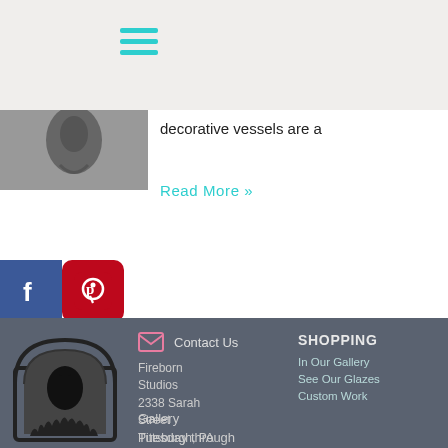[Figure (illustration): Hamburger menu icon with three teal horizontal lines]
decorative vessels are a
Read More »
[Figure (logo): Facebook logo icon - blue square with white F]
[Figure (logo): Pinterest logo icon - red rounded square with white P]
[Figure (logo): Fireborn Studios logo - kiln with pottery silhouette]
Contact Us
Fireborn Studios
2338 Sarah Street
Pittsburgh, PA 15203
SHOPPING
In Our Gallery
See Our Glazes
Custom Work
Gallery
Tuesday through